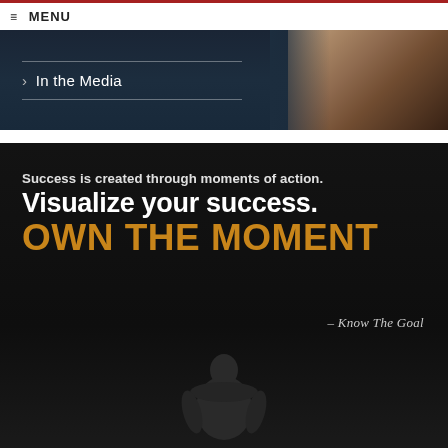≡ MENU
[Figure (photo): Dark banner image showing a judo/martial arts scene with text overlay 'In the Media' and a white chevron arrow, dark background on left half and warm-toned image on right]
[Figure (infographic): Motivational quote image on dark/black background: 'Success is created through moments of action. Visualize your success. OWN THE MOMENT - Know The Goal' with silhouette of muscular athlete at bottom]